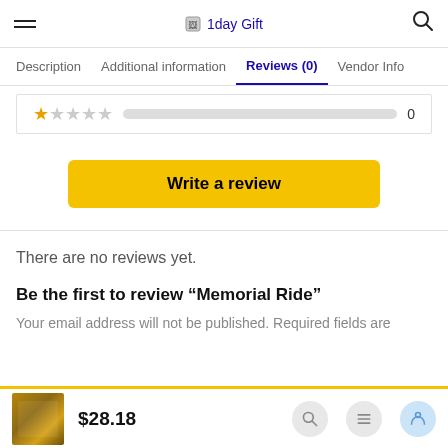1day Gift
Description  Additional information  Reviews (0)  Vendor Info
[Figure (other): Star rating row with one filled orange star and four empty stars, a grey progress bar, and the number 0]
Write a review
There are no reviews yet.
Be the first to review “Memorial Ride”
Your email address will not be published. Required fields are
$28.18